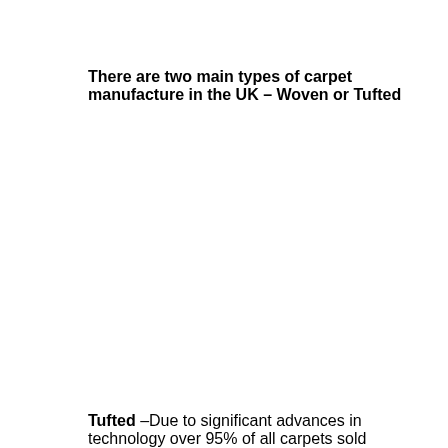There are two main types of carpet manufacture in the UK – Woven or Tufted
Tufted –Due to significant advances in technology over 95% of all carpets sold